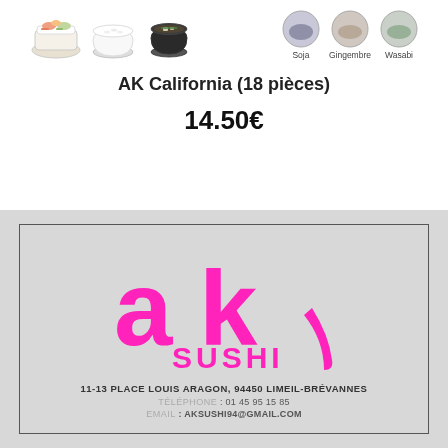[Figure (photo): Three food bowls (sushi/rice bowls) on the left, and three condiment items labeled Soja, Gingembre, Wasabi on the right]
AK California (18 pièces)
14.50€
[Figure (logo): AK Sushi logo in magenta/pink with stylized ak letters and SUSHI text below]
11-13 PLACE LOUIS ARAGON, 94450 LIMEIL-BRÉVANNES
TÉLÉPHONE : 01 45 95 15 85
EMAIL : AKSUSHI94@GMAIL.COM